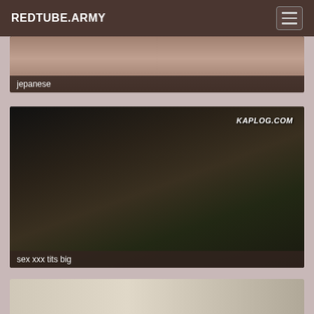REDTUBE.ARMY
[Figure (photo): Partially visible video thumbnail with skin-tone content, label 'jepanese']
jepanese
[Figure (photo): Dark video thumbnail with KAPLOG.COM watermark, label 'sex xxx tits big']
sex xxx tits big
[Figure (photo): Partially visible video thumbnail at bottom of page]